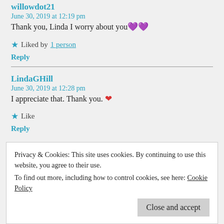willowdot21
June 30, 2019 at 12:19 pm
Thank you, Linda I worry about you 💜💜
★ Liked by 1 person
Reply
LindaGHill
June 30, 2019 at 12:28 pm
I appreciate that. Thank you. ❤
★ Like
Reply
Privacy & Cookies: This site uses cookies. By continuing to use this website, you agree to their use. To find out more, including how to control cookies, see here: Cookie Policy
Close and accept